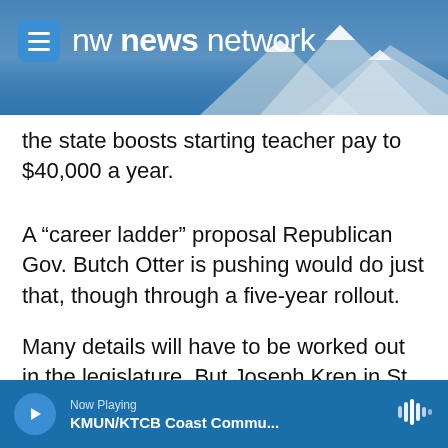nw news network
the state boosts starting teacher pay to $40,000 a year.
A “career ladder” proposal Republican Gov. Butch Otter is pushing would do just that, though through a five-year rollout.
Many details will have to be worked out in the legislature. But Joseph Kren in St. Maries is optimistic.
“If more money is given to those wages, then perhaps we can attract a few more people,” he
Now Playing
KMUN/KTCB Coast Commu...